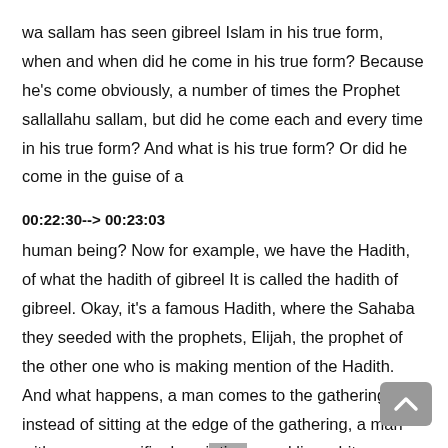wa sallam has seen gibreel Islam in his true form, when and when did he come in his true form? Because he's come obviously, a number of times the Prophet sallallahu sallam, but did he come each and every time in his true form? And what is his true form? Or did he come in the guise of a
00:22:30--> 00:23:03
human being? Now for example, we have the Hadith, of what the hadith of gibreel It is called the hadith of gibreel. Okay, it's a famous Hadith, where the Sahaba they seeded with the prophets, Elijah, the prophet of the other one who is making mention of the Hadith. And what happens, a man comes to the gathering. And instead of sitting at the edge of the gathering, a man with a very specific description, sparkling white clothes, jet black hair, and no signs of fatigue journey